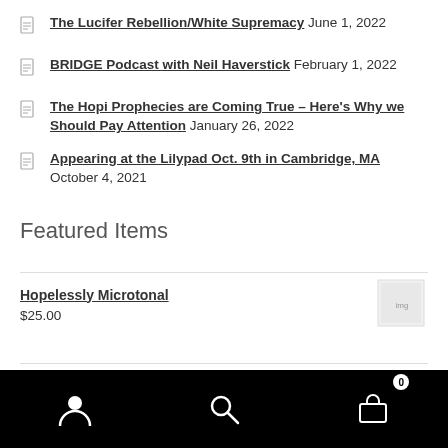The Lucifer Rebellion/White Supremacy June 1, 2022
BRIDGE Podcast with Neil Haverstick February 1, 2022
The Hopi Prophecies are Coming True – Here's Why we Should Pay Attention January 26, 2022
Appearing at the Lilypad Oct. 9th in Cambridge, MA October 4, 2021
Featured Items
Hopelessly Microtonal
$25.00
Navigation bar with user icon, search icon, and cart (0)